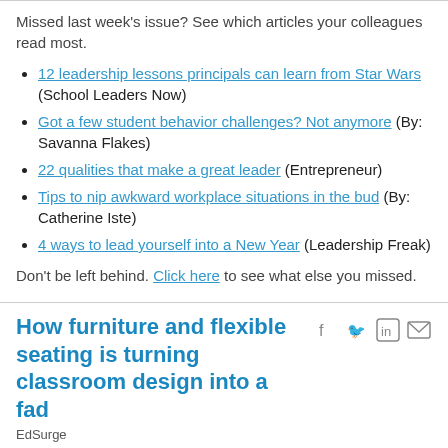Missed last week's issue? See which articles your colleagues read most.
12 leadership lessons principals can learn from Star Wars (School Leaders Now)
Got a few student behavior challenges? Not anymore (By: Savanna Flakes)
22 qualities that make a great leader (Entrepreneur)
Tips to nip awkward workplace situations in the bud (By: Catherine Iste)
4 ways to lead yourself into a New Year (Leadership Freak)
Don't be left behind. Click here to see what else you missed.
How furniture and flexible seating is turning classroom design into a fad
EdSurge
Education eats good ideas. It boils down its best levers for change into cliches and shells of ideas. The complex is turned into checklists and clickbait. Modern classroom design is sitting on this precipice. As more teachers and leaders race for tables on wheels and bouncy chairs in the name of flexible seating, the heart of this transformational idea, is in danger of a fad.